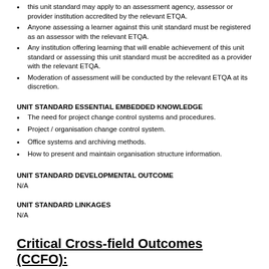this unit standard may apply to an assessment agency, assessor or provider institution accredited by the relevant ETQA.
Anyone assessing a learner against this unit standard must be registered as an assessor with the relevant ETQA.
Any institution offering learning that will enable achievement of this unit standard or assessing this unit standard must be accredited as a provider with the relevant ETQA.
Moderation of assessment will be conducted by the relevant ETQA at its discretion.
UNIT STANDARD ESSENTIAL EMBEDDED KNOWLEDGE
The need for project change control systems and procedures.
Project / organisation change control system.
Office systems and archiving methods.
How to present and maintain organisation structure information.
UNIT STANDARD DEVELOPMENTAL OUTCOME
N/A
UNIT STANDARD LINKAGES
N/A
Critical Cross-field Outcomes (CCFO):
UNIT STANDARD CCFO IDENTIFYING
Identify and solve problems, related to project change control implementation and administration.